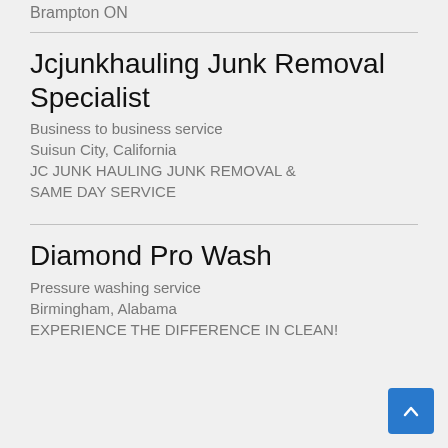Brampton ON
Jcjunkhauling Junk Removal Specialist
Business to business service
Suisun City, California
JC JUNK HAULING JUNK REMOVAL & SAME DAY SERVICE
Diamond Pro Wash
Pressure washing service
Birmingham, Alabama
EXPERIENCE THE DIFFERENCE IN CLEAN!